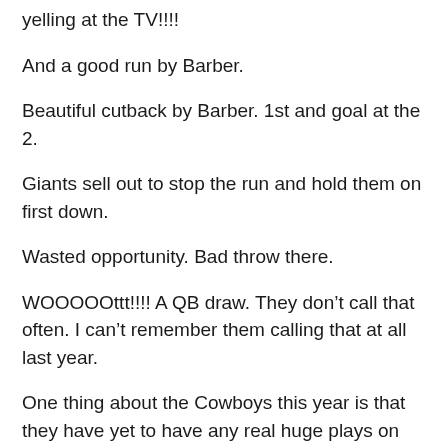yelling at the TV!!!!
And a good run by Barber.
Beautiful cutback by Barber. 1st and goal at the 2.
Giants sell out to stop the run and hold them on first down.
Wasted opportunity. Bad throw there.
WOOOOOttt!!!! A QB draw. They don't call that often. I can't remember them calling that at all last year.
One thing about the Cowboys this year is that they have yet to have any real huge plays on defense or special teams. What I mean is that all of the points they have put up so far (58) have come from normal field positions. I don't think they've started a single series yet on the other side of the 50. All of their points have come on their side. This is a good offense…